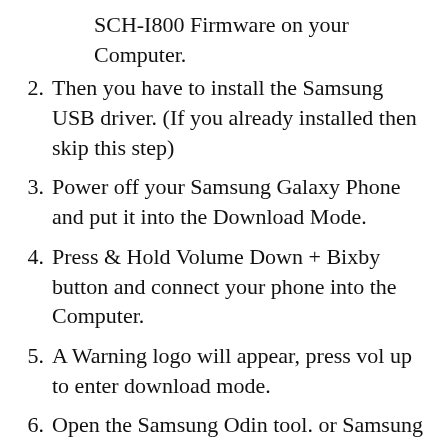SCH-I800 Firmware on your Computer.
2. Then you have to install the Samsung USB driver. (If you already installed then skip this step)
3. Power off your Samsung Galaxy Phone and put it into the Download Mode.
4. Press & Hold Volume Down + Bixby button and connect your phone into the Computer.
5. A Warning logo will appear, press vol up to enter download mode.
6. Open the Samsung Odin tool. or Samsung Kies Setup.
7. [social icons] s S m e i Odin tool.